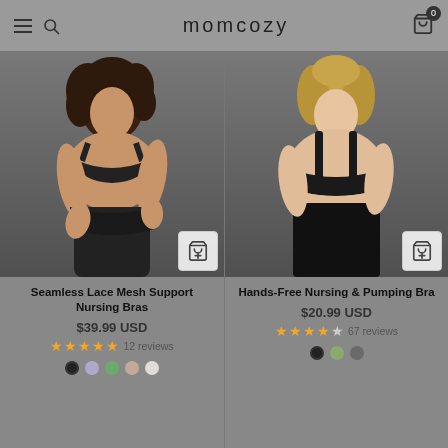momcozy
[Figure (photo): Model wearing black seamless lace mesh nursing bra and black underwear, plus-size black woman with curly hair, smiling]
Seamless Lace Mesh Support Nursing Bras
$39.99 USD
12 reviews, 4.5 stars
[Figure (photo): Model wearing black hands-free nursing and pumping bra with black high-waisted bottoms, blonde woman smiling]
Hands-Free Nursing & Pumping Bra
$20.99 USD
67 reviews, 4 stars